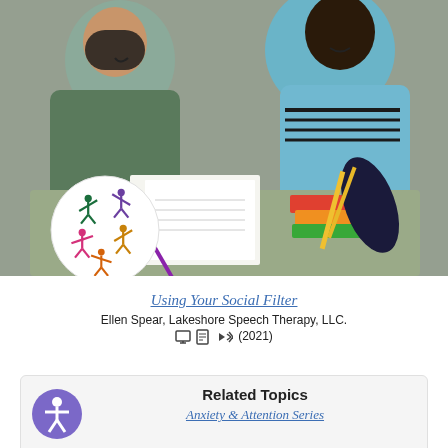[Figure (photo): Two girls studying together outdoors, writing in notebooks with books and school supplies on the table. A circular logo with colorful stick figures is overlaid on the lower-left of the photo.]
Using Your Social Filter
Ellen Spear, Lakeshore Speech Therapy, LLC.
(2021)
Related Topics
Anxiety & Attention Series